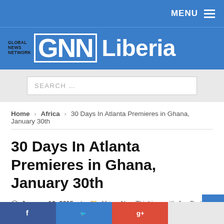MENU
[Figure (logo): Global News Network GNN Liberia logo on blue background]
SEARCH ...
Home > Africa > 30 Days In Atlanta Premieres in Ghana, January 30th
30 Days In Atlanta Premieres in Ghana, January 30th
January 10, 2015  Africa, New Thinking--with Joe Bartuah -  0